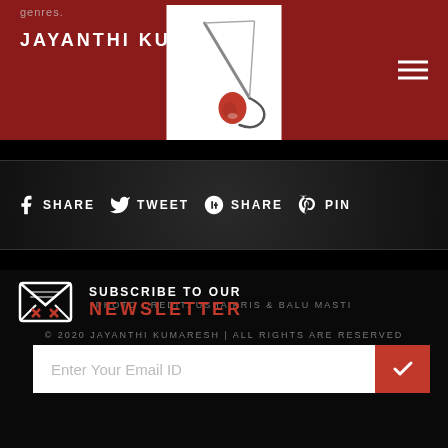genres. JAYANTHI KUMARESH
[Figure (logo): Jayanthi Kumaresh logo - fishing hook with red drop/lotus]
SHARE   TWEET   SHARE   PIN
PHOTO CREDIT: USHA KRIS & BALU MASTI
© 2020 JAYANTHI KUMARESH | ALL RIGHTS ARE RESERVED
POWERED BY IGENERO
SUBSCRIBE TO OUR NEWSLETTER
Enter Your Email ID